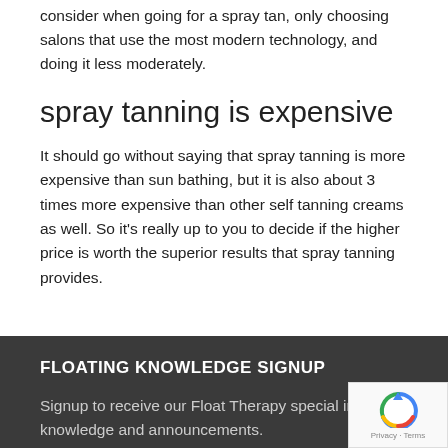consider when going for a spray tan, only choosing salons that use the most modern technology, and doing it less moderately.
spray tanning is expensive
It should go without saying that spray tanning is more expensive than sun bathing, but it is also about 3 times more expensive than other self tanning creams as well. So it’s really up to you to decide if the higher price is worth the superior results that spray tanning provides.
FLOATING KNOWLEDGE SIGNUP
Signup to receive our Float Therapy special insider knowledge and announcements.